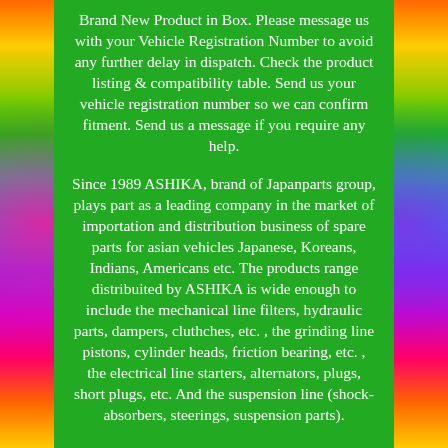Brand New Product in Box. Please message us with your Vehicle Registration Number to avoid any further delay in dispatch. Check the product listing & compatibility table. Send us your vehicle registration number so we can confirm fitment. Send us a message if you require any help.
Since 1989 ASHIKA, brand of Japanparts group, plays part as a leading company in the market of importation and distribution business of spare parts for asian vehicles Japanese, Koreans, Indians, Americans etc. The products range distribuited by ASHIKA is wide enough to include the mechanical line filters, hydraulic parts, dampers, cluthches, etc. , the grinding line pistons, cylinder heads, friction bearing, etc. , the electrical line starters, alternators, plugs, short plugs, etc. And the suspension line (shock-absorbers, steerings, suspension parts).
Our offers are constantly improved and updated. Until now we have been the only one who has elaborated a professional on-line catalogue based on the TecDoc database which contains a lot of photos...